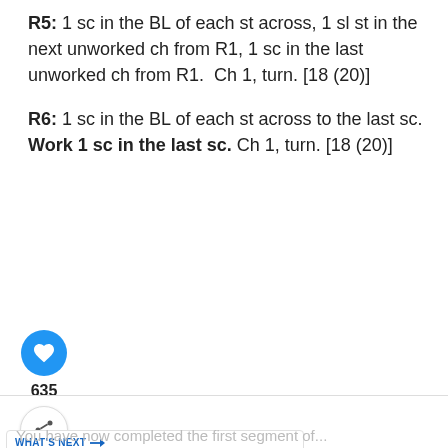R5: 1 sc in the BL of each st across, 1 sl st in the next unworked ch from R1, 1 sc in the last unworked ch from R1.  Ch 1, turn. [18 (20)]
R6: 1 sc in the BL of each st across to the last sc. Work 1 sc in the last sc. Ch 1, turn. [18 (20)]
[Figure (infographic): Social interaction UI strip: blue heart/like button, count 635, share button]
[Figure (infographic): What's Next card: thumbnail image and title 'Grandma's Textured La...']
You have now completed the first segment of...